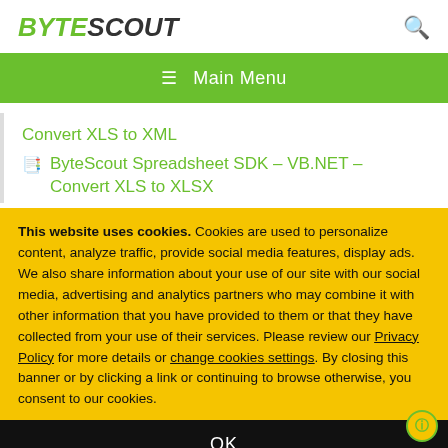BYTESCOUT
≡  Main Menu
Convert XLS to XML
ByteScout Spreadsheet SDK – VB.NET – Convert XLS to XLSX
This website uses cookies. Cookies are used to personalize content, analyze traffic, provide social media features, display ads. We also share information about your use of our site with our social media, advertising and analytics partners who may combine it with other information that you have provided to them or that they have collected from your use of their services. Please review our Privacy Policy for more details or change cookies settings. By closing this banner or by clicking a link or continuing to browse otherwise, you consent to our cookies.
OK